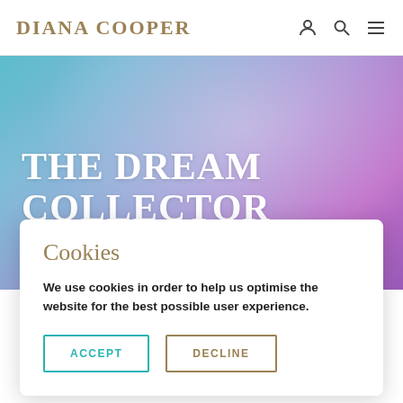DIANA COOPER
[Figure (illustration): Hero banner with watercolor-style gradient background in teal, blue, and purple tones]
THE DREAM COLLECTOR
8th February, 2012
Cookies
We use cookies in order to help us optimise the website for the best possible user experience.
ACCEPT  DECLINE